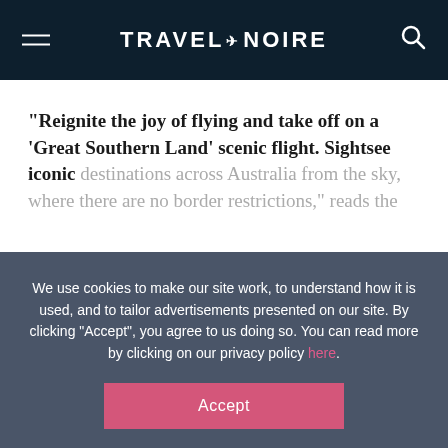TRAVEL+NOIRE
“Reignite the joy of flying and take off on a ‘Great Southern Land’ scenic flight. Sightsee iconic destinations across Australia from the sky, where there are no border restrictions,” reads the
We use cookies to make our site work, to understand how it is used, and to tailor advertisements presented on our site. By clicking “Accept”, you agree to us doing so. You can read more by clicking on our privacy policy here.
Accept